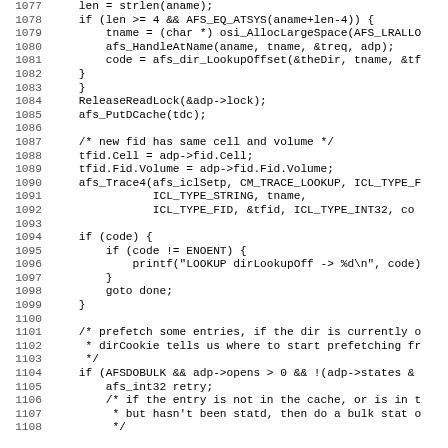[Figure (screenshot): Source code listing in C, lines 1077-1108, showing directory lookup and prefetch logic in what appears to be AFS (Andrew File System) source code. Line numbers on left, code on right in monospace font.]